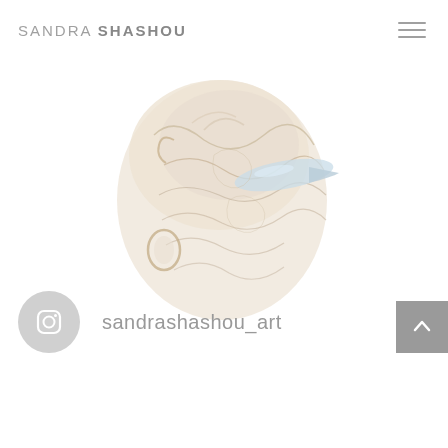SANDRA SHASHOU
[Figure (illustration): Close-up photograph of a decorative sculptural artwork — appears to be a wire-wrapped or mixed-media piece in pale cream, gold, and light blue tones, shown against a white background. The piece has an organic, layered form.]
sandrashashou_art